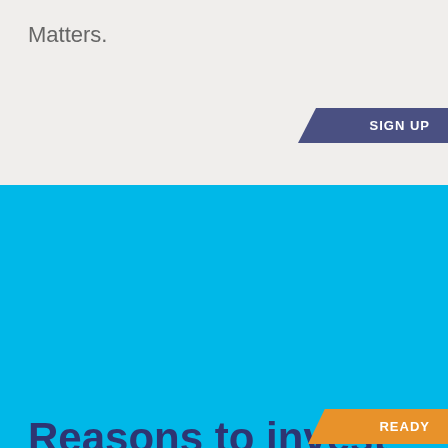Matters.
[Figure (other): SIGN UP button arrow shape in dark blue/navy]
Reasons to invest
Financial
Start investing and build assets
Earn Annual Dividend (minimum 2%)
See the value of your shares appreciate over time with the appreciation of the property value and the pay-down of commercial mortgage
Build your investment that's protected from loss
[Figure (other): READY button arrow shape in orange]